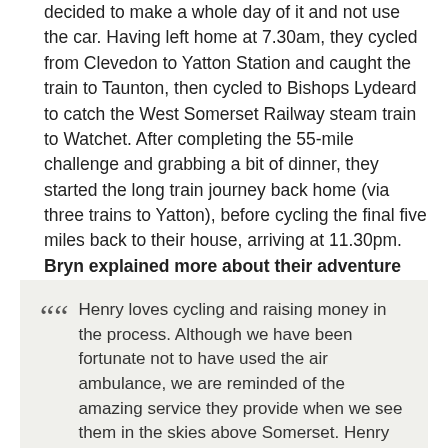decided to make a whole day of it and not use the car. Having left home at 7.30am, they cycled from Clevedon to Yatton Station and caught the train to Taunton, then cycled to Bishops Lydeard to catch the West Somerset Railway steam train to Watchet. After completing the 55-mile challenge and grabbing a bit of dinner, they started the long train journey back home (via three trains to Yatton), before cycling the final five miles back to their house, arriving at 11.30pm. Bryn explained more about their adventure and said:
““ Henry loves cycling and raising money in the process. Although we have been fortunate not to have used the air ambulance, we are reminded of the amazing service they provide when we see them in the skies above Somerset. Henry had previously taken part in the 11-mile cycle pre-covid, but is really into his cycling, so that’s